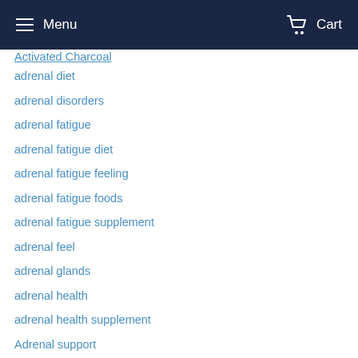Menu  Cart
Activated Charcoal
adrenal diet
adrenal disorders
adrenal fatigue
adrenal fatigue diet
adrenal fatigue feeling
adrenal fatigue foods
adrenal fatigue supplement
adrenal feel
adrenal glands
adrenal health
adrenal health supplement
Adrenal support
Alfalfa Leaf
Alfalfa Leaf Benefits
Almond
Almonds